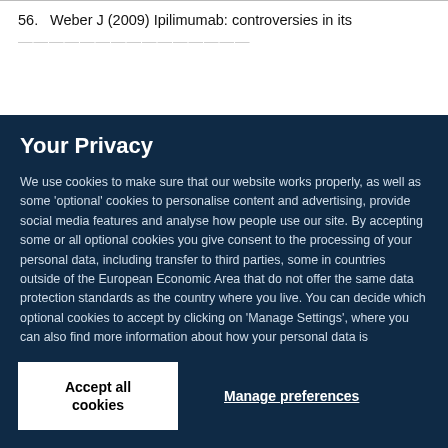56.  Weber J (2009) Ipilimumab: controversies in its development, utility and autoimmune adverse events
Your Privacy
We use cookies to make sure that our website works properly, as well as some 'optional' cookies to personalise content and advertising, provide social media features and analyse how people use our site. By accepting some or all optional cookies you give consent to the processing of your personal data, including transfer to third parties, some in countries outside of the European Economic Area that do not offer the same data protection standards as the country where you live. You can decide which optional cookies to accept by clicking on 'Manage Settings', where you can also find more information about how your personal data is processed. Further information can be found in our privacy policy.
Accept all cookies
Manage preferences